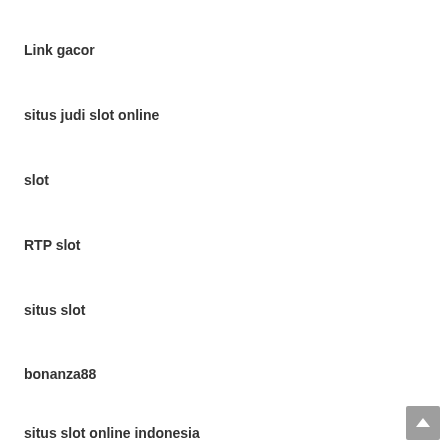Link gacor
situs judi slot online
slot
RTP slot
situs slot
bonanza88
situs slot online indonesia